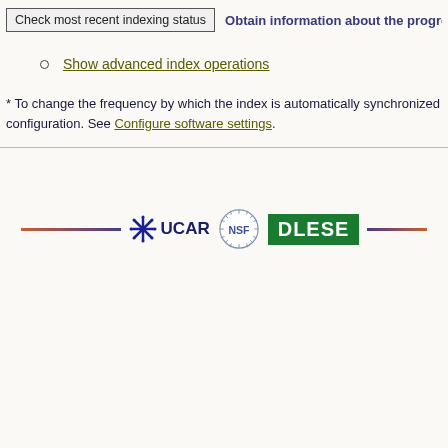Check most recent indexing status — Obtain information about the progre...
Show advanced index operations
* To change the frequency by which the index is automatically synchronized configuration. See Configure software settings.
[Figure (logo): Footer with UCAR, NSF, and DLESE logos with decorative lines]